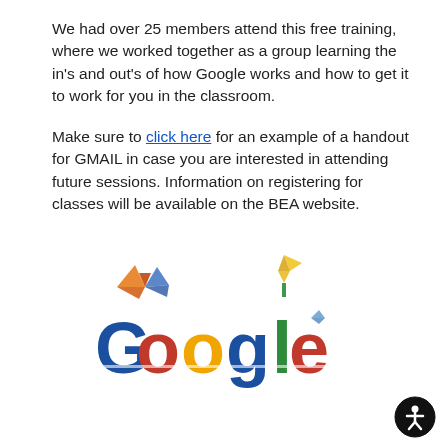We had over 25 members attend this free training, where we worked together as a group learning the in's and out's of how Google works and how to get it to work for you in the classroom.
Make sure to click here for an example of a handout for GMAIL in case you are interested in attending future sessions. Information on registering for classes will be available on the BEA website.
[Figure (logo): Google logo rendered in origami/paper-craft style with colorful folded paper letters spelling 'Google' and decorative paper butterflies/cranes above the letters]